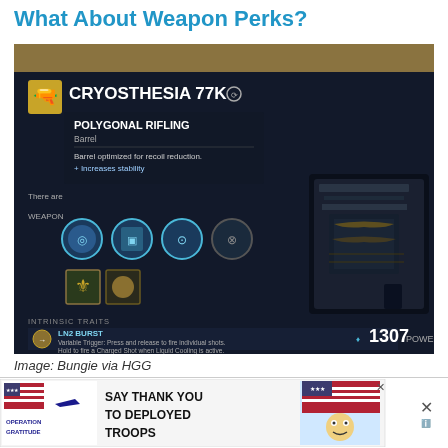What About Weapon Perks?
[Figure (screenshot): Destiny 2 in-game weapon inspection screen showing CRYOSTHESIA 77K with POLYGONAL RIFLING perk tooltip popup. Shows barrel stats, weapon icons, intrinsic traits, LN2 BURST description, and 1307 POWER indicator.]
Image: Bungie via HGG
Weapon Perks are far more volatile than Mods when it comes to stats. Depending on the perk, you can either increase a base stat, add a
[Figure (infographic): Advertisement banner: SAY THANK YOU TO DEPLOYED TROOPS - Operation Gratitude]